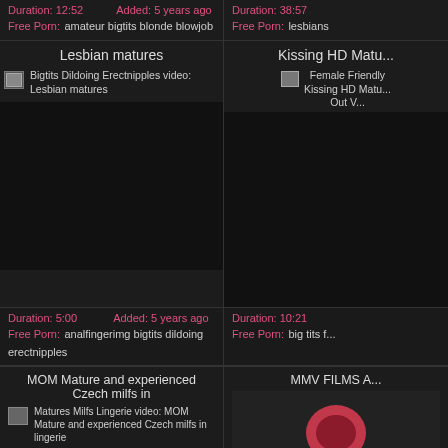Duration: 12:52  Added: 5 years ago
Free Porn: amateur bigtits blonde blowjob
Duration: 38:57
Free Porn: lesbians
Lesbian matures
[Figure (photo): Bigtits Dildoing Erectnipples video: Lesbian matures thumbnail]
Kissing HD Matu...
[Figure (photo): Female Friendly Kissing HD Matu... Out V... thumbnail]
Duration: 5:00  Added: 5 years ago
Free Porn: analfingerimg bigtits dildoing erectnipples
Duration: 10:21
Free Porn: big tits f...
MOM Mature and experienced Czech milfs in
[Figure (photo): Matures Milfs Lingerie video: MOM Mature and experienced Czech milfs in lingerie thumbnail]
MMV FILMS A...
[Figure (photo): MMV FILMS partial image visible]